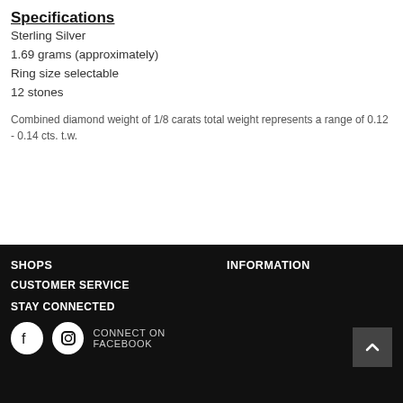Specifications
Sterling Silver
1.69 grams (approximately)
Ring size selectable
12 stones
Combined diamond weight of 1/8 carats total weight represents a range of 0.12 - 0.14 cts. t.w.
SHOPS | INFORMATION | CUSTOMER SERVICE | STAY CONNECTED | CONNECT ON FACEBOOK